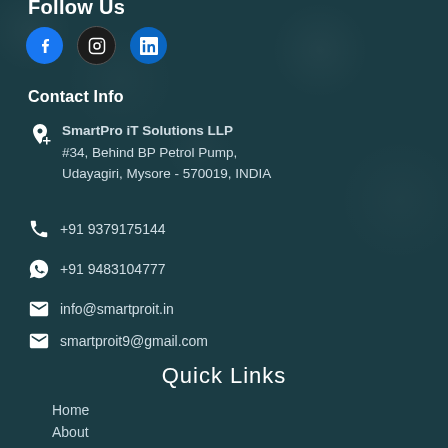Follow Us
[Figure (illustration): Three social media icons: Facebook (blue circle), Instagram (dark circle), LinkedIn (blue circle)]
Contact Info
SmartPro iT Solutions LLP
#34, Behind BP Petrol Pump,
Udayagiri, Mysore - 570019, INDIA
+91 9379175144
+91 9483104777
info@smartproit.in
smartproit9@gmail.com
Quick Links
Home
About